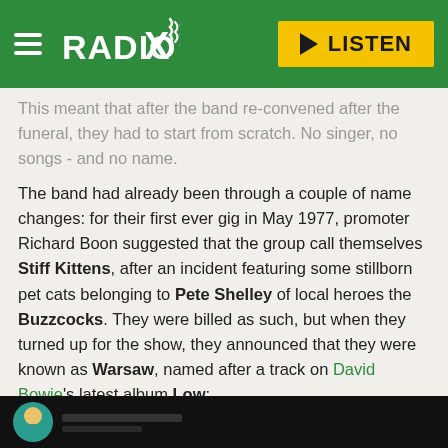RADIO X — LISTEN
This meant that after the band re-convened after the funeral, they had to start from scratch. No singer, no songs - and no name.
The band had already been through a couple of name changes: for their first ever gig in May 1977, promoter Richard Boon suggested that the group call themselves Stiff Kittens, after an incident featuring some stillborn pet cats belonging to Pete Shelley of local heroes the Buzzcocks. They were billed as such, but when they turned up for the show, they announced that they were known as Warsaw, named after a track on David Bowie's latest album Low:
[Figure (photo): Bottom strip showing a dark image with a teal circular avatar on the left, partial view of a face or head]